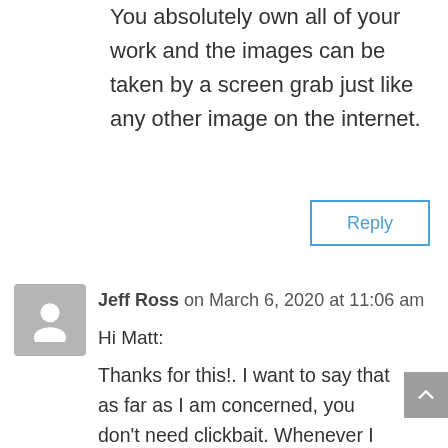You absolutely own all of your work and the images can be taken by a screen grab just like any other image on the internet.
Reply
Jeff Ross on March 6, 2020 at 11:06 am
Hi Matt:
Thanks for this!. I want to say that as far as I am concerned, you don’t need clickbait. Whenever I see Matt Kloskowski or Matt K, it is one of the first things I go to because over the years I have come to “know” you and